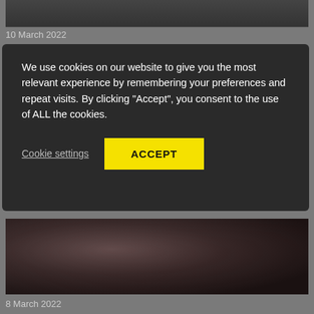[Figure (photo): Dark image strip at top of page, partially visible]
10 March 2022
We use cookies on our website to give you the most relevant experience by remembering your preferences and repeat visits. By clicking “Accept”, you consent to the use of ALL the cookies.
Cookie settings
ACCEPT
[Figure (photo): Dark photograph of a person working at a table, with decorative elements in background]
8 March 2022